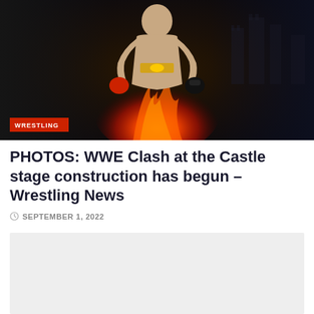[Figure (photo): WWE Clash at the Castle promotional image showing a wrestler with fire and castle background, with a red WRESTLING category tag in the bottom left corner]
PHOTOS: WWE Clash at the Castle stage construction has begun – Wrestling News
SEPTEMBER 1, 2022
[Figure (photo): Content image placeholder - light grey rectangle showing a partially loaded or blank image]